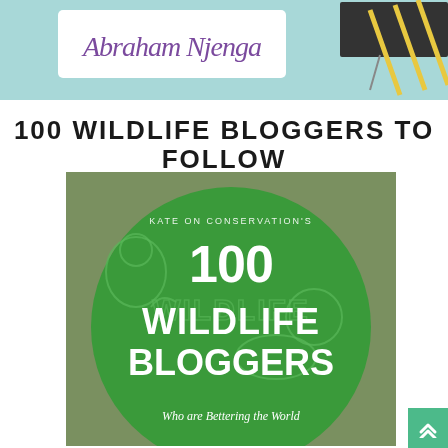[Figure (illustration): Top banner image with light teal/cyan background. A white rounded rectangle contains the handwritten script text 'Abraham Njenga' in purple. Right side shows a partial illustration of a graduation cap and yellow diagonal lines.]
100 WILDLIFE BLOGGERS TO FOLLOW
[Figure (illustration): Square image with olive-green background. A large green circle contains illustrated wildlife animals (koala, lion, leopard, birds) in a line-art style. Text overlay reads: 'KATE ON CONSERVATION'S' (small, top), '100' (large), 'WILDLIFE BLOGGERS' (large bold white), 'Who are Bettering the World' (italic, bottom).]